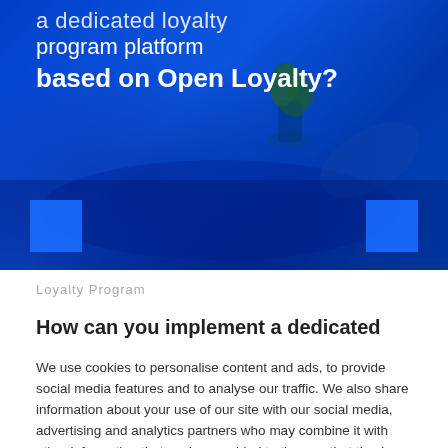[Figure (photo): Hero banner image showing a blue-toned photograph of a desk/table scene with plants and hands, overlaid with white text about a loyalty program platform based on Open Loyalty. Blue decorative squares in bottom corners.]
Loyalty Program
How can you implement a dedicated...
We use cookies to personalise content and ads, to provide social media features and to analyse our traffic. We also share information about your use of our site with our social media, advertising and analytics partners who may combine it with other information that you've provided to them or that they've collected from your use of their services. You can deactivate cookies through a functionality built into your web browser. To find out more about the cookies we use, see our Privacy Policy.